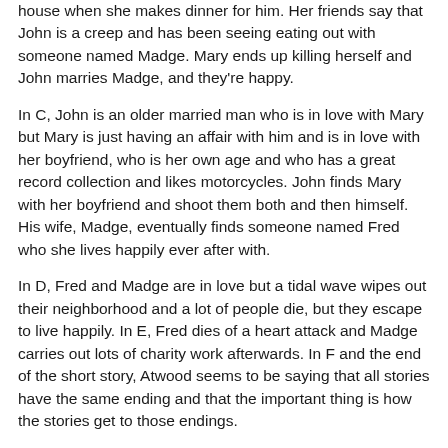house when she makes dinner for him. Her friends say that John is a creep and has been seeing eating out with someone named Madge. Mary ends up killing herself and John marries Madge, and they're happy.
In C, John is an older married man who is in love with Mary but Mary is just having an affair with him and is in love with her boyfriend, who is her own age and who has a great record collection and likes motorcycles. John finds Mary with her boyfriend and shoot them both and then himself. His wife, Madge, eventually finds someone named Fred who she lives happily ever after with.
In D, Fred and Madge are in love but a tidal wave wipes out their neighborhood and a lot of people die, but they escape to live happily. In E, Fred dies of a heart attack and Madge carries out lots of charity work afterwards. In F and the end of the short story, Atwood seems to be saying that all stories have the same ending and that the important thing is how the stories get to those endings.
5 out of 5 stars. Everyone should spend 10 minutes of their